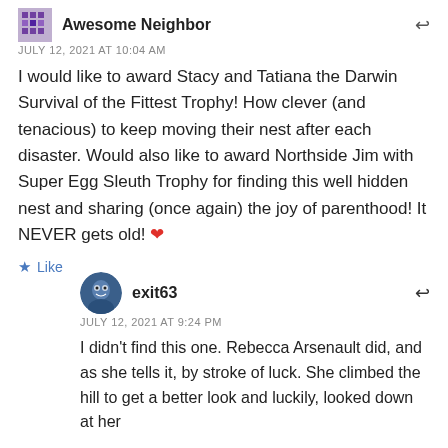Awesome Neighbor
JULY 12, 2021 AT 10:04 AM
I would like to award Stacy and Tatiana the Darwin Survival of the Fittest Trophy! How clever (and tenacious) to keep moving their nest after each disaster. Would also like to award Northside Jim with Super Egg Sleuth Trophy for finding this well hidden nest and sharing (once again) the joy of parenthood! It NEVER gets old! ❤
★ Like
exit63
JULY 12, 2021 AT 9:24 PM
I didn't find this one. Rebecca Arsenault did, and as she tells it, by stroke of luck. She climbed the hill to get a better look and luckily, looked down at her